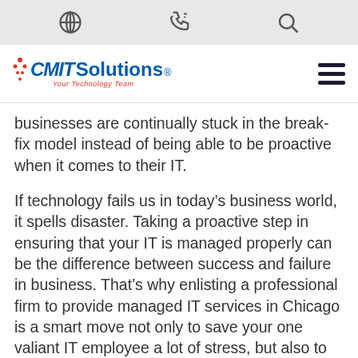CMIT Solutions — Your Technology Team
businesses are continually stuck in the break-fix model instead of being able to be proactive when it comes to their IT.
If technology fails us in today’s business world, it spells disaster. Taking a proactive step in ensuring that your IT is managed properly can be the difference between success and failure in business. That’s why enlisting a professional firm to provide managed IT services in Chicago is a smart move not only to save your one valiant IT employee a lot of stress, but also to keep your business operating normally all the time.
GET A QUOTE
Managed IT tends to be a lot more affordable than